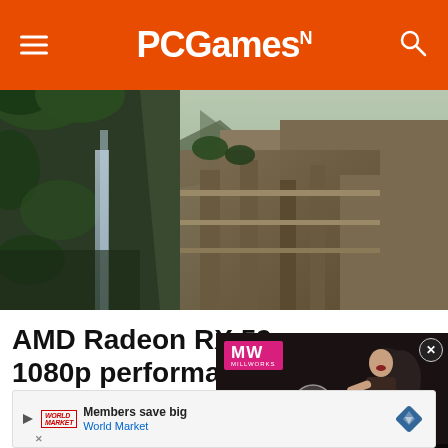PCGamesN
[Figure (photo): Hero screenshot from a video game showing rocky cliffs, waterfalls, lush vegetation and ancient stone structures in a mountain landscape]
AMD Radeon RX 59 1080p performance
Assassin's Creed Odyssey
[Figure (screenshot): Video overlay showing 'MW' logo on pink background and dark action scene with text 'ALONE IN THE DARK REMAKE' and play button]
[Figure (infographic): Advertisement banner: Members save big - World Market]